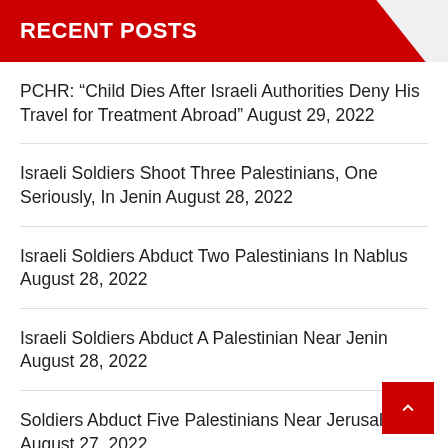RECENT POSTS
PCHR: “Child Dies After Israeli Authorities Deny His Travel for Treatment Abroad” August 29, 2022
Israeli Soldiers Shoot Three Palestinians, One Seriously, In Jenin August 28, 2022
Israeli Soldiers Abduct Two Palestinians In Nablus August 28, 2022
Israeli Soldiers Abduct A Palestinian Near Jenin August 28, 2022
Soldiers Abduct Five Palestinians Near Jerusalem August 27, 2022